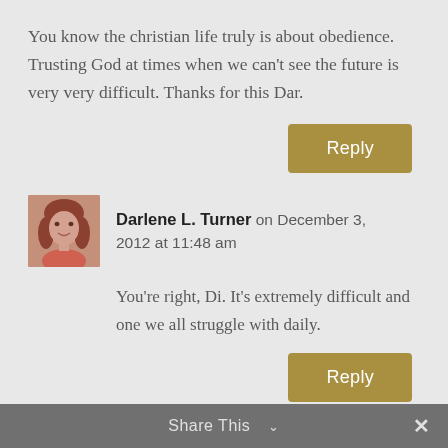You know the christian life truly is about obedience. Trusting God at times when we can't see the future is very very difficult. Thanks for this Dar.
[Figure (other): Reply button (gold/olive colored button with white text 'Reply')]
[Figure (photo): Avatar photo of Darlene L. Turner, a woman with reddish-brown hair]
Darlene L. Turner on December 3, 2012 at 11:48 am
You're right, Di. It's extremely difficult and one we all struggle with daily.
[Figure (other): Reply button (gold/olive colored button with white text 'Reply')]
Share This ∨  ✕